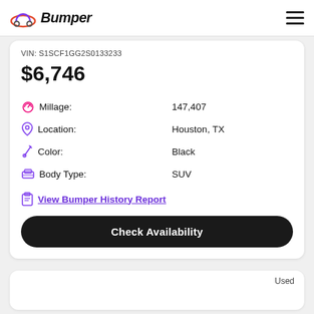Bumper
VIN: S1SCF1GG2S0133233
$6,746
| Field | Value |
| --- | --- |
| Millage: | 147,407 |
| Location: | Houston, TX |
| Color: | Black |
| Body Type: | SUV |
View Bumper History Report
Check Availability
Used